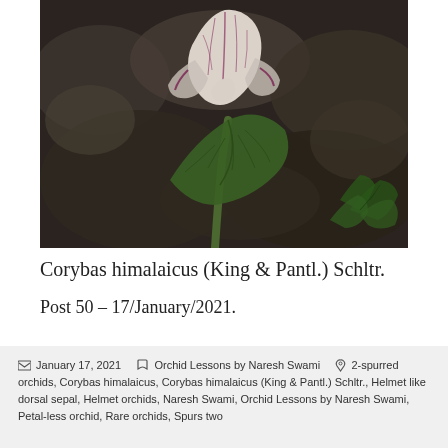[Figure (photo): Close-up macro photograph of Corybas himalaicus orchid flower against dark blurred rocky background. The flower shows white petals with purple/red veining and a green leaf beneath it. Some green foliage visible in the lower right.]
Corybas himalaicus (King & Pantl.) Schltr.
Post 50 – 17/January/2021.
January 17, 2021   Orchid Lessons by Naresh Swami   2-spurred orchids, Corybas himalaicus, Corybas himalaicus (King & Pantl.) Schltr., Helmet like dorsal sepal, Helmet orchids, Naresh Swami, Orchid Lessons by Naresh Swami, Petal-less orchid, Rare orchids, Spurs two